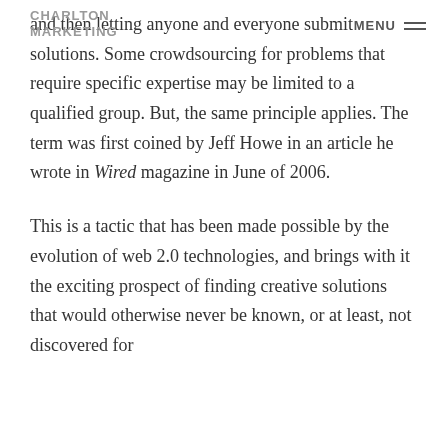CHARLTON MARKETING  MENU
and then letting anyone and everyone submit solutions. Some crowdsourcing for problems that require specific expertise may be limited to a qualified group. But, the same principle applies. The term was first coined by Jeff Howe in an article he wrote in Wired magazine in June of 2006.
This is a tactic that has been made possible by the evolution of web 2.0 technologies, and brings with it the exciting prospect of finding creative solutions that would otherwise never be known, or at least, not discovered for